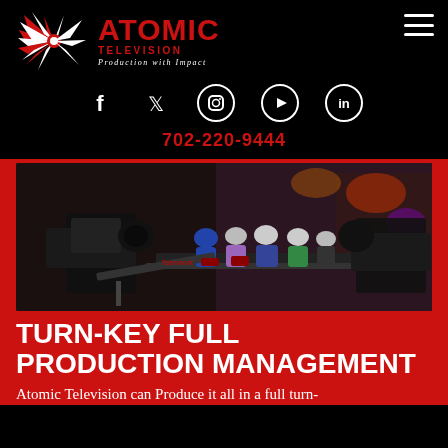[Figure (logo): Atomic Television logo with starburst/atomic symbol in red and white, company name in red text, tagline 'Production with Impact']
[Figure (infographic): Social media icons: Facebook, Twitter, Instagram, YouTube, LinkedIn on black background]
702-220-9444
[Figure (photo): TV production studio scene with panel of news anchors seated at a desk, cameras and crew visible in foreground, colorful stage lighting in background]
TURN-KEY FULL PRODUCTION MANAGEMENT
Atomic Television can Produce it all in a full turn-